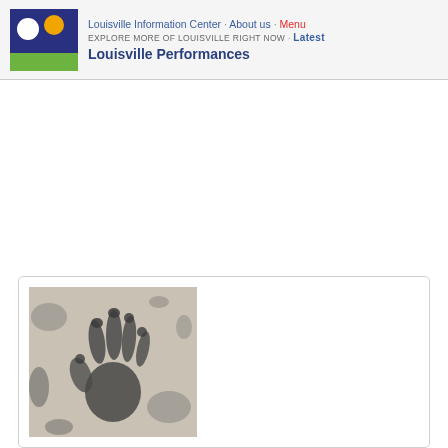Louisville Information Center · About us · Menu
EXPLORE MORE OF LOUISVILLE RIGHT NOW · Latest
Louisville Performances
[Figure (photo): Black and white photograph showing a handprint impression on a textured surface, appearing like a cave art or ink handprint.]